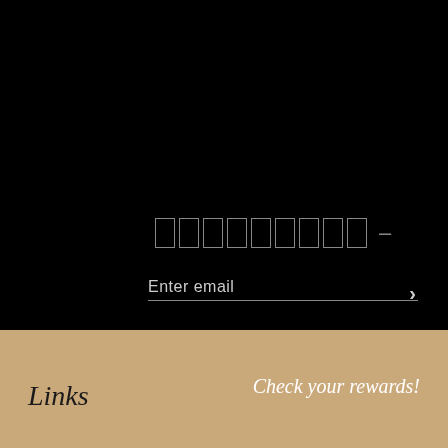[Figure (screenshot): Black background section with placeholder box characters and a dash, resembling redacted or loading text, followed by an email input field with an arrow submit button]
Enter email
Links
Check your rewards!